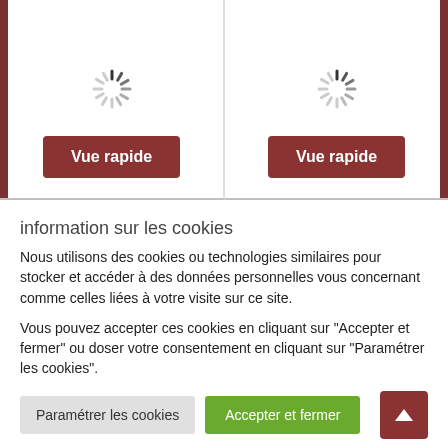[Figure (screenshot): Two product cards side by side, each showing a loading spinner and a 'Vue rapide' button on a dark red background. Left maroon vertical border on left card, right maroon border on right card.]
information sur les cookies
Nous utilisons des cookies ou technologies similaires pour stocker et accéder à des données personnelles vous concernant comme celles liées à votre visite sur ce site.
Vous pouvez accepter ces cookies en cliquant sur "Accepter et fermer" ou doser votre consentement en cliquant sur "Paramétrer les cookies".
Paramétrer les cookies
Accepter et fermer